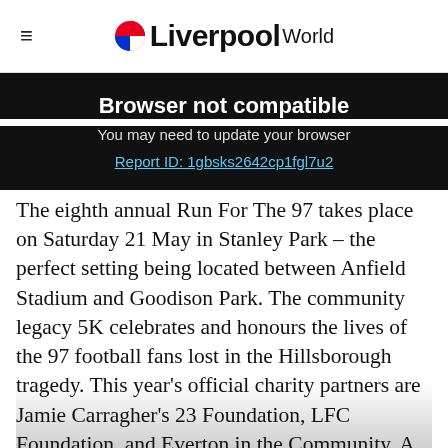≡ OLiverpool World
Browser not compatible
You may need to update your browser
Report ID: 1gbsks2642cp1fgl7u2
The eighth annual Run For The 97 takes place on Saturday 21 May in Stanley Park – the perfect setting being located between Anfield Stadium and Goodison Park. The community legacy 5K celebrates and honours the lives of the 97 football fans lost in the Hillsborough tragedy. This year's official charity partners are Jamie Carragher's 23 Foundation, LFC Foundation, and Everton in the Community. A new charity addition for 2022 is Stanley Park